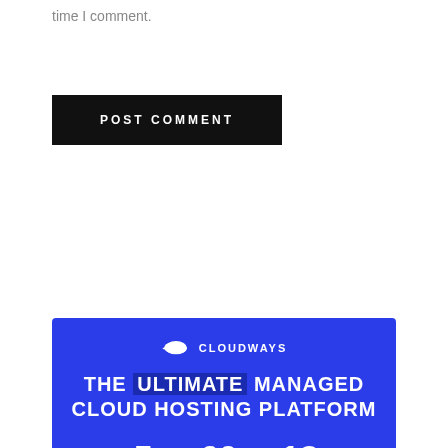time I comment.
POST COMMENT
[Figure (infographic): Cloudways advertisement banner: 'THE ULTIMATE MANAGED CLOUD HOSTING PLATFORM' with stats: 5 IaaS Providers, 60+ Datacenters, 13+ Applications. Tech icons row. GET STARTED button. No Credit Card Required.]